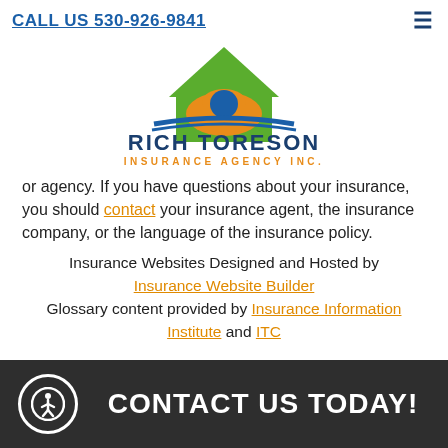CALL US 530-926-9841
[Figure (logo): Rich Toreson Insurance Agency Inc. logo with house and car icon in green, orange, and blue colors]
or agency. If you have questions about your insurance, you should contact your insurance agent, the insurance company, or the language of the insurance policy. Insurance Websites Designed and Hosted by Insurance Website Builder Glossary content provided by Insurance Information Institute and ITC
CONTACT US TODAY!